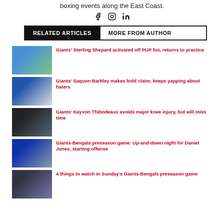boxing events along the East Coast.
[Figure (other): Social media icons: Facebook, Instagram, LinkedIn]
RELATED ARTICLES | MORE FROM AUTHOR
Giants' Sterling Shepard activated off PUP list, returns to practice
Giants' Saquon Barkley makes bold claim, keeps yapping about haters
Giants' Kayvon Thibodeaux avoids major knee injury, but will miss time
Giants-Bengals preseason game: Up-and-down night for Daniel Jones, starting offense
4 things to watch in Sunday's Giants-Bengals preseason game